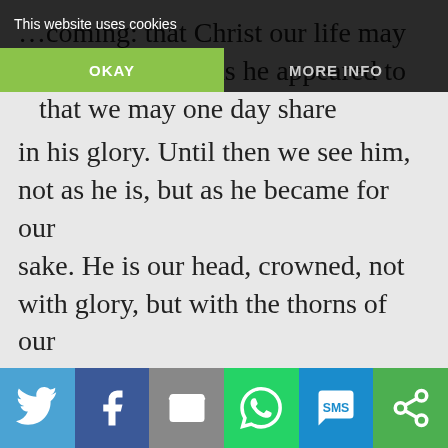This website uses cookies | OKAY | MORE INFO
…coming: that Christ our life may also appear to us as he appeared to them, and that we may one day share in his glory. Until then we see him, not as he is, but as he became for our sake. He is our head, crowned, not with glory, but with the thorns of our sins. As members of that head, crowned with thorns, we should be ashamed to live in luxury; his purple robes are a mockery rather than an honour. When Christ comes again, his death shall no longer be proclaimed, and we shall know that…
Share buttons: Twitter, Facebook, Email, WhatsApp, SMS, Other